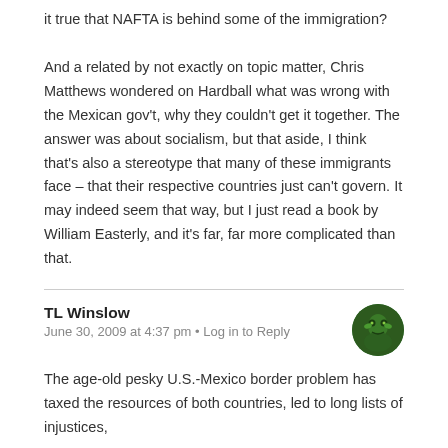it true that NAFTA is behind some of the immigration?

And a related by not exactly on topic matter, Chris Matthews wondered on Hardball what was wrong with the Mexican gov't, why they couldn't get it together. The answer was about socialism, but that aside, I think that's also a stereotype that many of these immigrants face – that their respective countries just can't govern. It may indeed seem that way, but I just read a book by William Easterly, and it's far, far more complicated than that.
TL Winslow
June 30, 2009 at 4:37 pm • Log in to Reply
The age-old pesky U.S.-Mexico border problem has taxed the resources of both countries, led to long lists of injustices, and has not been discussed before, beginning in the